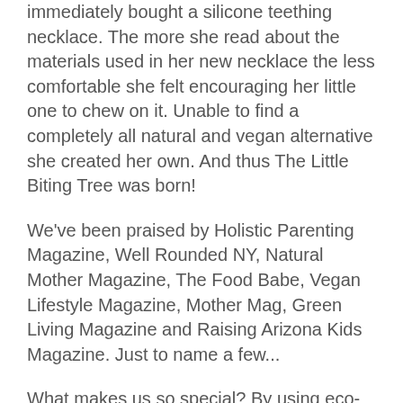immediately bought a silicone teething necklace. The more she read about the materials used in her new necklace the less comfortable she felt encouraging her little one to chew on it. Unable to find a completely all natural and vegan alternative she created her own. And thus The Little Biting Tree was born!
We've been praised by Holistic Parenting Magazine, Well Rounded NY, Natural Mother Magazine, The Food Babe, Vegan Lifestyle Magazine, Mother Mag, Green Living Magazine and Raising Arizona Kids Magazine. Just to name a few...
What makes us so special? By using eco-friendly and sustainably, ethically sourced raw wooden beads threaded with pure organic cotton, we eliminate any concern moms have about chemicals and synthetics (such as latex, BPA, PVC, Phthalates or any other carcinogens) going into their babe's mouth. And we never use dyes, oils or resins on any of our beads. We prefer to go au natural!
We've specially selected woods that naturally contain anti-bacterial, anti-fungal and anti-viral properties. And